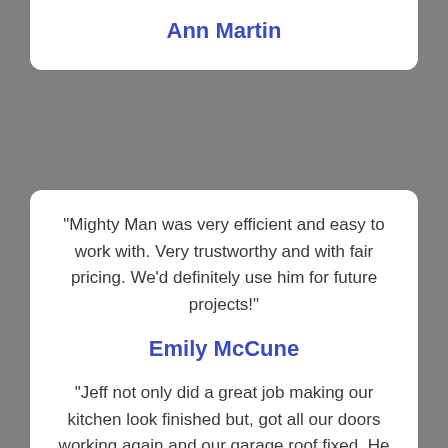Ann Martin
"Mighty Man was very efficient and easy to work with. Very trustworthy and with fair pricing. We'd definitely use him for future projects!"
Emily McCune
"Jeff not only did a great job making our kitchen look finished but, got all our doors working again and our garage roof fixed. He is a real professional, has a friendly personality and is reasonably